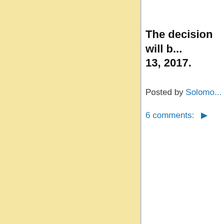The decision will b... 13, 2017.
Posted by Solomo...
6 comments:
President... Justice R...
[Figure (photo): A blurred/cropped photo of a person in front of an American flag]